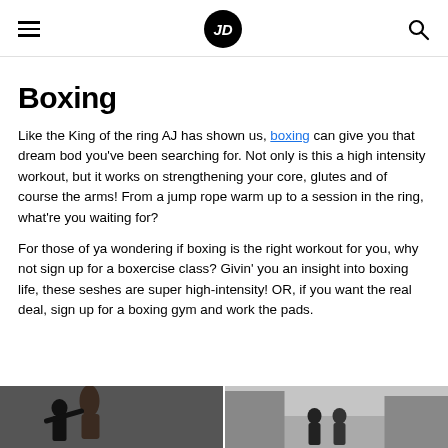JD Sports navigation header with hamburger menu, JD logo, and search icon
Boxing
Like the King of the ring AJ has shown us, boxing can give you that dream bod you've been searching for. Not only is this a high intensity workout, but it works on strengthening your core, glutes and of course the arms! From a jump rope warm up to a session in the ring, what're you waiting for?
For those of ya wondering if boxing is the right workout for you, why not sign up for a boxercise class? Givin' you an insight into boxing life, these seshes are super high-intensity! OR, if you want the real deal, sign up for a boxing gym and work the pads.
[Figure (photo): Two-panel photo strip at the bottom: left panel shows a person boxing with a punch bag in a gym, right panel shows two people standing on a street between buildings.]